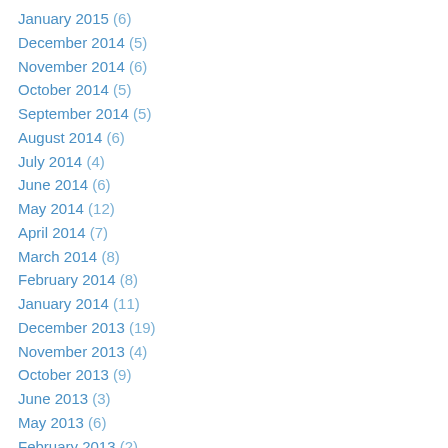January 2015 (6)
December 2014 (5)
November 2014 (6)
October 2014 (5)
September 2014 (5)
August 2014 (6)
July 2014 (4)
June 2014 (6)
May 2014 (12)
April 2014 (7)
March 2014 (8)
February 2014 (8)
January 2014 (11)
December 2013 (19)
November 2013 (4)
October 2013 (9)
June 2013 (3)
May 2013 (6)
February 2013 (2)
December 2012 (1)